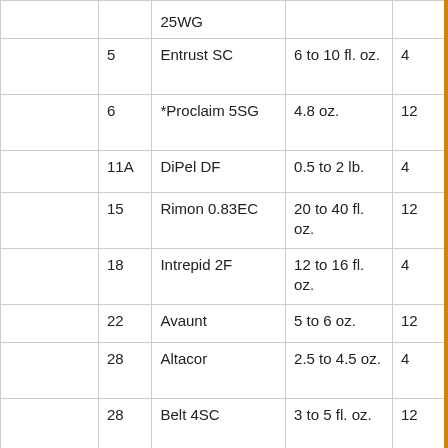|  | IRAC # | Product | Rate/Acre | PHI |
| --- | --- | --- | --- | --- |
|  |  | 25WG |  |  |
|  | 5 | Entrust SC | 6 to 10 fl. oz. | 4 |
|  | 6 | *Proclaim 5SG | 4.8 oz. | 12 |
|  | 11A | DiPel DF | 0.5 to 2 lb. | 4 |
|  | 15 | Rimon 0.83EC | 20 to 40 fl. oz. | 12 |
|  | 18 | Intrepid 2F | 12 to 16 fl. oz. | 4 |
|  | 22 | Avaunt | 5 to 6 oz. | 12 |
|  | 28 | Altacor | 2.5 to 4.5 oz. | 4 |
|  | 28 | Belt 4SC | 3 to 5 fl. oz. | 12 |